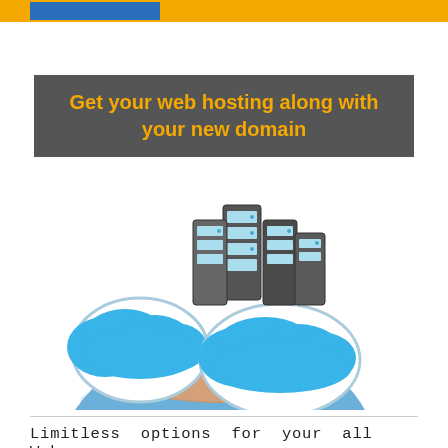Get your web hosting along with your new domain
[Figure (illustration): A hand holding two blue cloud shapes with server rack towers behind them, representing web hosting and cloud services.]
Limitless options for your all Web